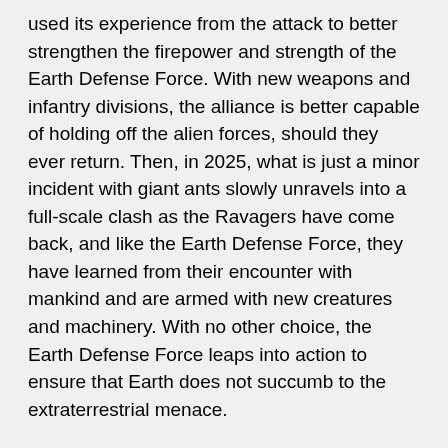used its experience from the attack to better strengthen the firepower and strength of the Earth Defense Force. With new weapons and infantry divisions, the alliance is better capable of holding off the alien forces, should they ever return. Then, in 2025, what is just a minor incident with giant ants slowly unravels into a full-scale clash as the Ravagers have come back, and like the Earth Defense Force, they have learned from their encounter with mankind and are armed with new creatures and machinery. With no other choice, the Earth Defense Force leaps into action to ensure that Earth does not succumb to the extraterrestrial menace.
In spite of the elaborate summarization, Earth Defense Force 4.1's plot is simplistic in set-up and structure, and more the better because of it. While serious in nature, the over-the-top nature of the situation and dialogue heard throughout each missions reminds us that a game where hordes of creatures are killed with a bombastic arsenal of guns and different characters should not be taken seriously. It's campy, but not to the point that it's self-aware, and like Earth Defense Force 2017, the radio conversations give players an insight into the events unfolding elsewhere